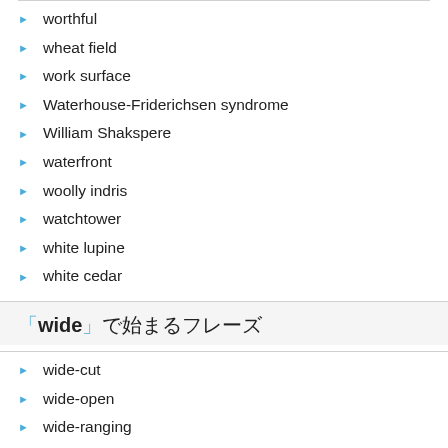worthful
wheat field
work surface
Waterhouse-Friderichsen syndrome
William Shakspere
waterfront
woolly indris
watchtower
white lupine
white cedar
「wide」で始まるフレーズ
wide-cut
wide-open
wide-ranging
wide screen